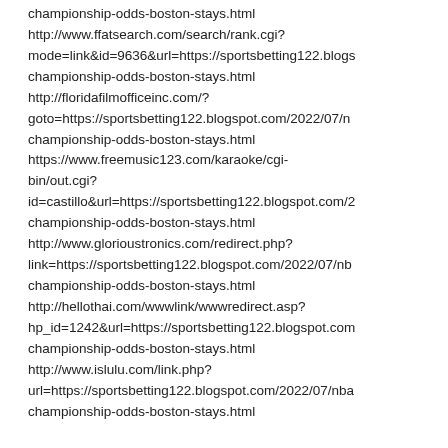championship-odds-boston-stays.html
http://www.ffatsearch.com/search/rank.cgi?mode=link&id=9636&url=https://sportsbetting122.blogs championship-odds-boston-stays.html
http://floridafilmofficeinc.com/?goto=https://sportsbetting122.blogspot.com/2022/07/n championship-odds-boston-stays.html
https://www.freemusic123.com/karaoke/cgi-bin/out.cgi?id=castillo&url=https://sportsbetting122.blogspot.com/2 championship-odds-boston-stays.html
http://www.glorioustronics.com/redirect.php?link=https://sportsbetting122.blogspot.com/2022/07/nb championship-odds-boston-stays.html
http://hellothai.com/wwwlink/wwwredirect.asp?hp_id=1242&url=https://sportsbetting122.blogspot.com championship-odds-boston-stays.html
http://www.islulu.com/link.php?url=https://sportsbetting122.blogspot.com/2022/07/nba championship-odds-boston-stays.html